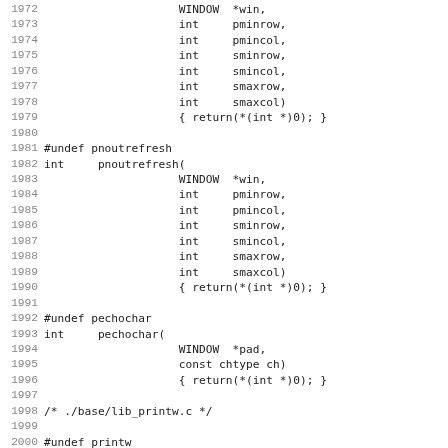Source code listing lines 1972–2003, showing C function stubs for pminrow, pnoutrefresh, pechochar, and printw.